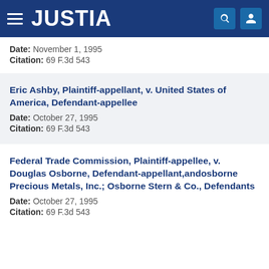JUSTIA
Date: November 1, 1995
Citation: 69 F.3d 543
Eric Ashby, Plaintiff-appellant, v. United States of America, Defendant-appellee
Date: October 27, 1995
Citation: 69 F.3d 543
Federal Trade Commission, Plaintiff-appellee, v. Douglas Osborne, Defendant-appellant,andosborne Precious Metals, Inc.; Osborne Stern & Co., Defendants
Date: October 27, 1995
Citation: 69 F.3d 543